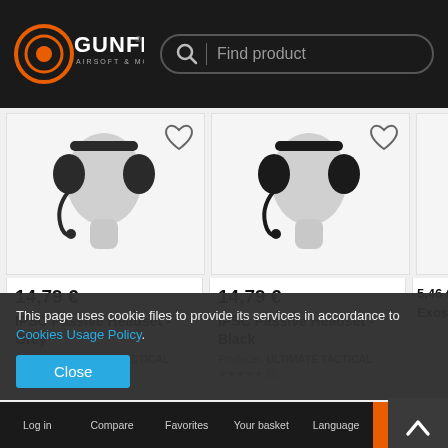[Figure (logo): Gunfire Airsoft & More logo with orange circle/target icon on dark header]
[Figure (screenshot): Search bar with magnifying glass icon and 'Find product' placeholder text]
[Figure (photo): IPSC Passive Headset Grey on grey mannequin head, product card with heart icon]
14,79 €
IPSC Passive Headset - Grey
Producer: ULTIMATE TACTICAL
(0)
[Figure (photo): IPSC Passive Headset Black on grey mannequin head, product card with heart icon]
14,79 €
IPSC Passive Headset - Black
Producer: ULTIMATE TACTICAL
(0)
[Figure (photo): Partially visible third product card showing price 5,46 € (crossed out 7,2...) and partial name 'Exoskelet...']
5,46 €  7,2...
Exoskelet...
This page uses cookie files to provide its services in accordance to Cookies Usage Policy.
Close
Log in   Compare   Favorites   Your basket   Language   Menu